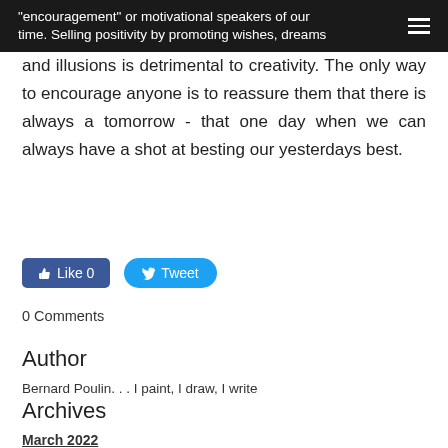“encouragement” or motivational speakers of our time. Selling positivity by promoting wishes, dreams
and illusions is detrimental to creativity. The only way to encourage anyone is to reassure them that there is always a tomorrow - that one day when we can always have a shot at besting our yesterdays best.
[Figure (other): Facebook Like button (Like 0) and Twitter Tweet button]
0 Comments
Author
Bernard Poulin. . . I paint, I draw, I write
Archives
March 2022